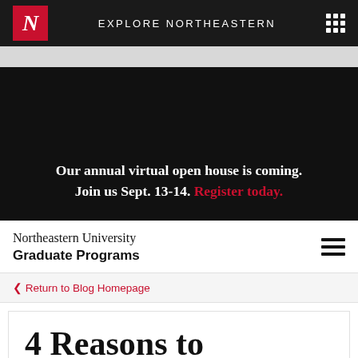EXPLORE NORTHEASTERN
[Figure (screenshot): Black banner area with virtual open house announcement]
Our annual virtual open house is coming. Join us Sept. 13-14. Register today.
Northeastern University Graduate Programs
Return to Blog Homepage
4 Reasons to Pursue a Career in